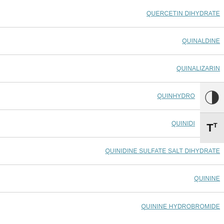QUERCETIN DIHYDRATE
QUINALDINE
QUINALIZARIN
QUINHYDRO
QUINIDI
QUINIDINE SULFATE SALT DIHYDRATE
QUININE
QUININE HYDROBROMIDE